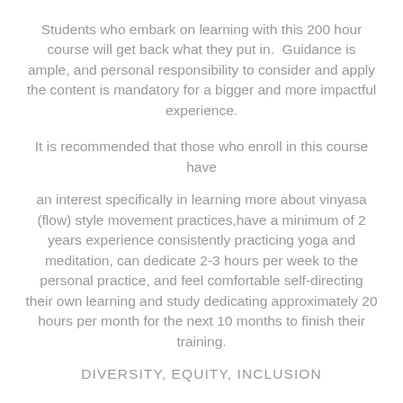Students who embark on learning with this 200 hour course will get back what they put in.  Guidance is ample, and personal responsibility to consider and apply the content is mandatory for a bigger and more impactful experience.
It is recommended that those who enroll in this course have
an interest specifically in learning more about vinyasa (flow) style movement practices,have a minimum of 2 years experience consistently practicing yoga and meditation, can dedicate 2-3 hours per week to the personal practice, and feel comfortable self-directing their own learning and study dedicating approximately 20 hours per month for the next 10 months to finish their training.
DIVERSITY, EQUITY, INCLUSION